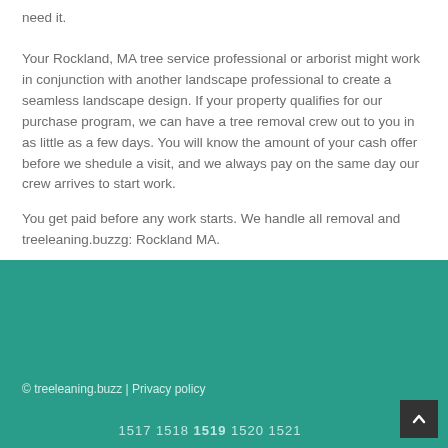need it.
Your Rockland, MA tree service professional or arborist might work in conjunction with another landscape professional to create a seamless landscape design. If your property qualifies for our purchase program, we can have a tree removal crew out to you in as little as a few days. You will know the amount of your cash offer before we shedule a visit, and we always pay on the same day our crew arrives to start work.
You get paid before any work starts. We handle all removal and treeleaning.buzzg: Rockland MA.
© treeleaning.buzz | Privacy policy
1517 1518 1519 1520 1521